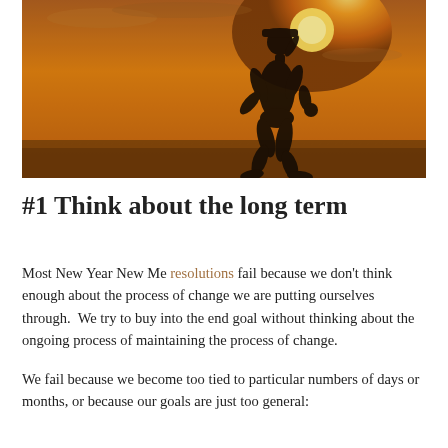[Figure (photo): Silhouette of a woman running against a warm golden sunset sky. The background glows orange and yellow with the sun visible in the upper right. The runner's figure is dark against the bright background, with a ponytail and a cap.]
#1 Think about the long term
Most New Year New Me resolutions fail because we don't think enough about the process of change we are putting ourselves through.  We try to buy into the end goal without thinking about the ongoing process of maintaining the process of change.
We fail because we become too tied to particular numbers of days or months, or because our goals are just too general: